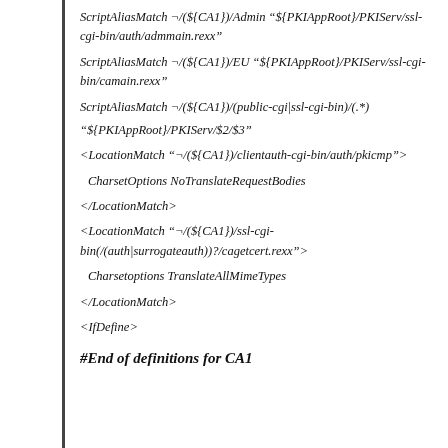ScriptAliasMatch ¬/($\{CA1\})/Admin "$\{PKIAppRoot\}/PKIServ/ssl-cgi-bin/auth/admmain.rexx"
ScriptAliasMatch ¬/($\{CA1\})/EU "$\{PKIAppRoot\}/PKIServ/ssl-cgi-bin/camain.rexx"
ScriptAliasMatch ¬/($\{CA1\})/(public-cgi|ssl-cgi-bin)/(.*) "$\{PKIAppRoot\}/PKIServ/$2/$3"
<LocationMatch "¬/($\{CA1\})/clientauth-cgi-bin/auth/pkicmp">
CharsetOptions NoTranslateRequestBodies
</LocationMatch>
<LocationMatch "¬/($\{CA1\})/ssl-cgi-bin(/(auth|surrogateauth))?/cagetcert.rexx">
Charsetoptions TranslateAllMimeTypes
</LocationMatch>
<IfDefine>
#End of definitions for CA1